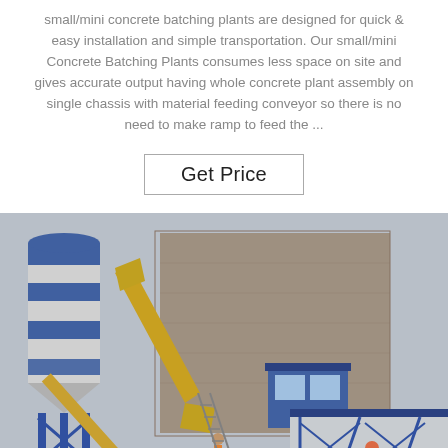small/mini concrete batching plants are designed for quick & easy installation and simple transportation. Our small/mini Concrete Batching Plants consumes less space on site and gives accurate output having whole concrete plant assembly on single chassis with material feeding conveyor so there is no need to make ramp to feed the ...
Get Price
[Figure (photo): Photo of a small/mini concrete batching plant with blue and white silos, a yellow conveyor belt system, a blue control cabin, and a large concrete building in the background. A worker is visible at the base of the structure.]